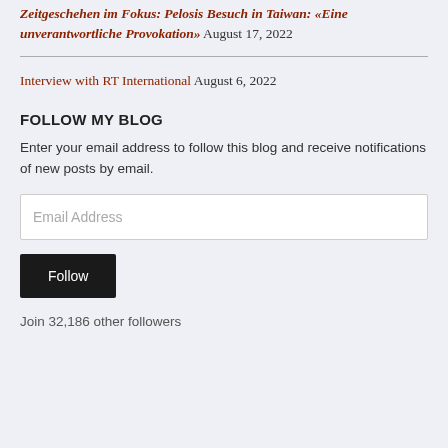Zeitgeschehen im Fokus: Pelosis Besuch in Taiwan: «Eine unverantwortliche Provokation» August 17, 2022
Interview with RT International August 6, 2022
FOLLOW MY BLOG
Enter your email address to follow this blog and receive notifications of new posts by email.
Email Address
Follow
Join 32,186 other followers